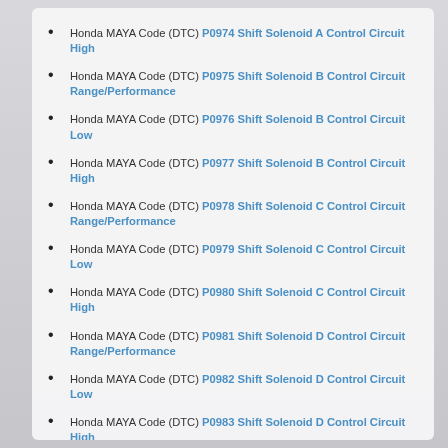Honda MAYA Code (DTC) P0974 Shift Solenoid A Control Circuit High
Honda MAYA Code (DTC) P0975 Shift Solenoid B Control Circuit Range/Performance
Honda MAYA Code (DTC) P0976 Shift Solenoid B Control Circuit Low
Honda MAYA Code (DTC) P0977 Shift Solenoid B Control Circuit High
Honda MAYA Code (DTC) P0978 Shift Solenoid C Control Circuit Range/Performance
Honda MAYA Code (DTC) P0979 Shift Solenoid C Control Circuit Low
Honda MAYA Code (DTC) P0980 Shift Solenoid C Control Circuit High
Honda MAYA Code (DTC) P0981 Shift Solenoid D Control Circuit Range/Performance
Honda MAYA Code (DTC) P0982 Shift Solenoid D Control Circuit Low
Honda MAYA Code (DTC) P0983 Shift Solenoid D Control Circuit High
Honda MAYA Code (DTC) P0984 Shift Solenoid E Control Circuit Range/Performance